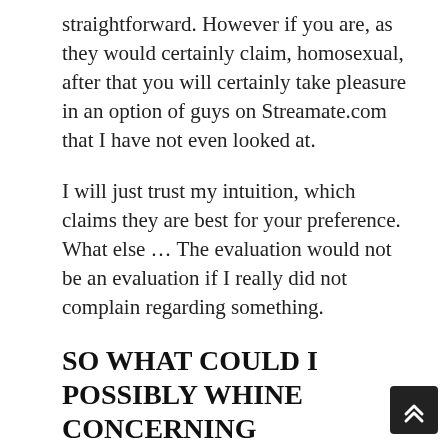straightforward. However if you are, as they would certainly claim, homosexual, after that you will certainly take pleasure in an option of guys on Streamate.com that I have not even looked at.
I will just trust my intuition, which claims they are best for your preference. What else … The evaluation would not be an evaluation if I really did not complain regarding something.
SO WHAT COULD I POSSIBLY WHINE CONCERNING STREAMATE.COM?
Advertising. As well as not just advertising in general. An ad that opens up in the entire tab when you try to begin a program.
The website is cluttered with it, and also often, whe you click on a stream, you will be redirected to an